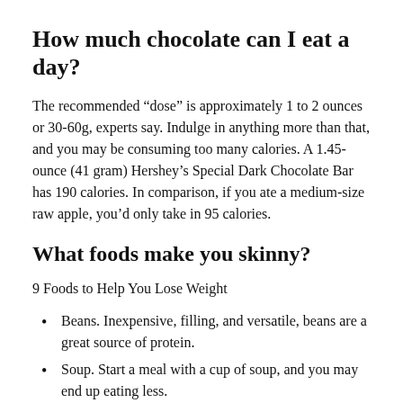How much chocolate can I eat a day?
The recommended “dose” is approximately 1 to 2 ounces or 30-60g, experts say. Indulge in anything more than that, and you may be consuming too many calories. A 1.45-ounce (41 gram) Hershey’s Special Dark Chocolate Bar has 190 calories. In comparison, if you ate a medium-size raw apple, you’d only take in 95 calories.
What foods make you skinny?
9 Foods to Help You Lose Weight
Beans. Inexpensive, filling, and versatile, beans are a great source of protein.
Soup. Start a meal with a cup of soup, and you may end up eating less.